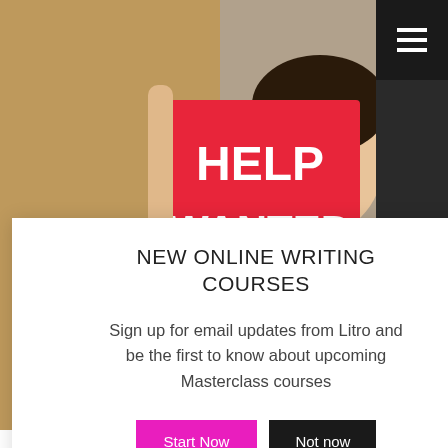[Figure (photo): Photo of an Asian woman holding a red 'Help Wanted' sign in a shop window, with blurred background.]
NEW ONLINE WRITING COURSES
Sign up for email updates from Litro and be the first to know about upcoming Masterclass courses
ONLINE TO 22